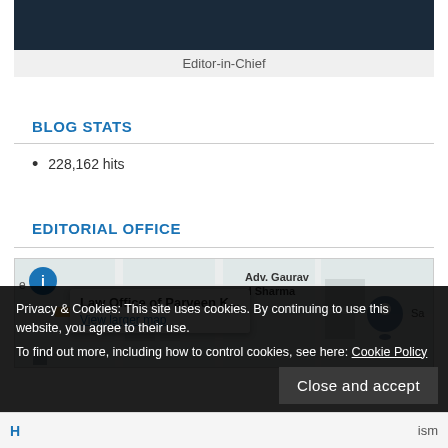[Figure (photo): Dark image of a person, cropped at top]
Editor-in-Chief
BLOG STATS
228,162 hits
EDITORIAL OFFICE
[Figure (map): Google Maps screenshot showing Law Office of Parveen K... with View larger map link, and Adv. Gaurav d Sharma label, with map pin and Sa label visible]
Privacy & Cookies: This site uses cookies. By continuing to use this website, you agree to their use.
To find out more, including how to control cookies, see here: Cookie Policy
Close and accept